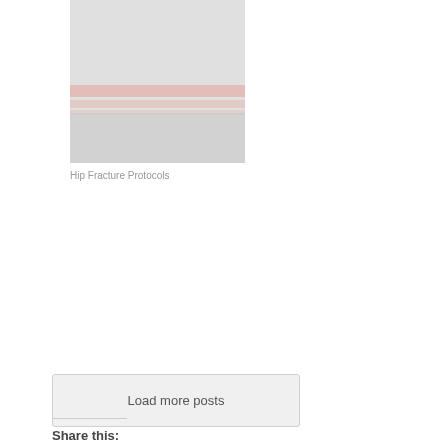[Figure (photo): Thumbnail image for Hip Fracture Protocols post, showing a blurred/abstract medical image with pinkish-red horizontal stripes on a grey background]
Hip Fracture Protocols
Load more posts
Share this: